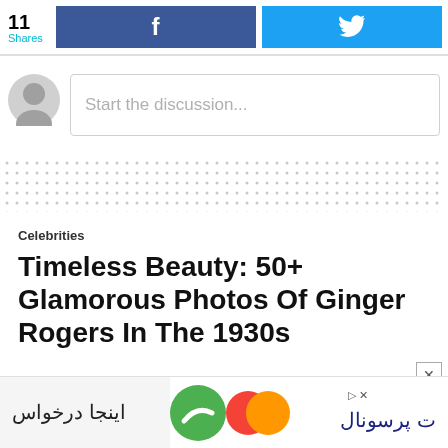11 Shares | Facebook share button | Twitter share button
Start the discussion...
[Figure (other): Dotted/dashed pattern area used as ad or content separator]
Celebrities
Timeless Beauty: 50+ Glamorous Photos Of Ginger Rogers In The 1930s
[Figure (other): Advertisement banner with Arabic text and colorful logo]